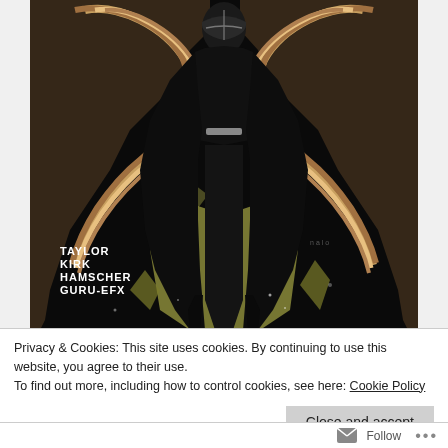[Figure (illustration): Comic book cover art showing a dark-cloaked figure (Kylo Ren) standing in black robes with a silver belt, against a background of stylized brown and tan First Order stormtrooper helmet shapes and a yellowish-green lower area. Credits at bottom left read: TAYLOR, KIRK, HAMSCHER, GURU-EFX]
Privacy & Cookies: This site uses cookies. By continuing to use this website, you agree to their use.
To find out more, including how to control cookies, see here: Cookie Policy
Close and accept
Follow